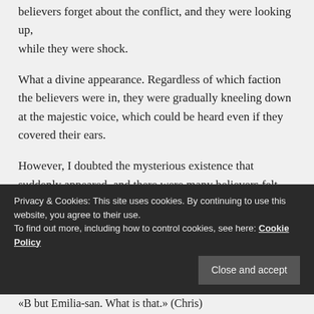believers forget about the conflict, and they were looking up, while they were shock.
What a divine appearance. Regardless of which faction the believers were in, they were gradually kneeling down at the majestic voice, which could be heard even if they covered their ears.
However, I doubted the mysterious existence that suddenly appeared, and there were many believers felt suspicious when gazing at him without letting out any voice.
Privacy & Cookies: This site uses cookies. By continuing to use this website, you agree to their use. To find out more, including how to control cookies, see here: Cookie Policy
«B but Emilia-san. What is that.» (Chris)